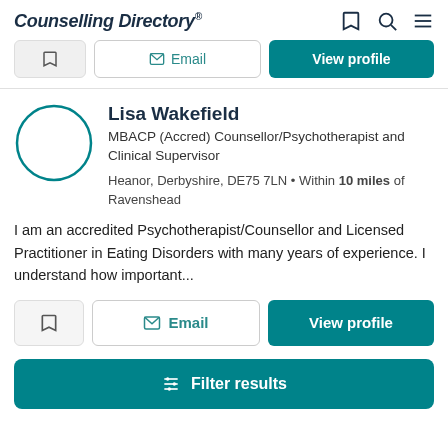Counselling Directory
[Figure (screenshot): Partially visible previous listing card with save, email, and view profile buttons]
Lisa Wakefield
MBACP (Accred) Counsellor/Psychotherapist and Clinical Supervisor
Heanor, Derbyshire, DE75 7LN • Within 10 miles of Ravenshead
I am an accredited Psychotherapist/Counsellor and Licensed Practitioner in Eating Disorders with many years of experience. I understand how important...
Filter results